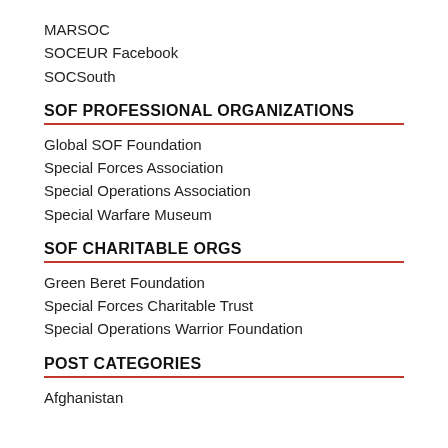MARSOC
SOCEUR Facebook
SOCSouth
SOF PROFESSIONAL ORGANIZATIONS
Global SOF Foundation
Special Forces Association
Special Operations Association
Special Warfare Museum
SOF CHARITABLE ORGS
Green Beret Foundation
Special Forces Charitable Trust
Special Operations Warrior Foundation
POST CATEGORIES
Afghanistan